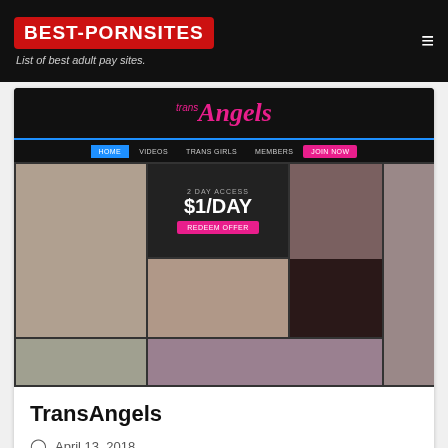BEST-PORNSITES | List of best adult pay sites.
[Figure (screenshot): Screenshot of TransAngels adult website showing site logo, navigation bar, promotional offer ($1/DAY 2 DAY ACCESS), and grid of thumbnail images]
TransAngels
April 13, 2018
Written by Claudio Cardaniello